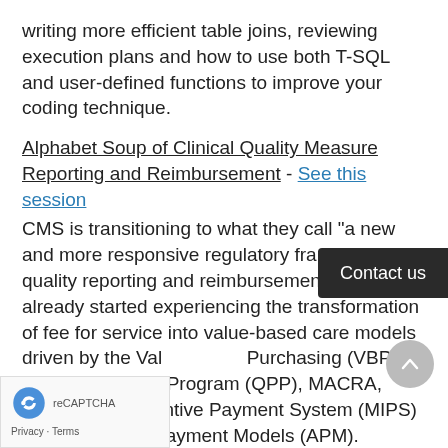writing more efficient table joins, reviewing execution plans and how to use both T-SQL and user-defined functions to improve your coding technique.
Alphabet Soup of Clinical Quality Measure Reporting and Reimbursement - See this session
CMS is transitioning to what they call "a new and more responsive regulatory framework" for quality reporting and reimbursement. We have already started experiencing the transformation of fee for service into value-based care models driven by the Value-based Purchasing (VBP), Quality Payment Program (QPP), MACRA, Merit-based Incentive Payment System (MIPS) and Alternative Payment Models (APM).
Advanced Data Repository Boot Camp - See this
In the Advanced DR Boot Camp, we'll dive more deeply into T-SQL stored procedure coding techniques, including